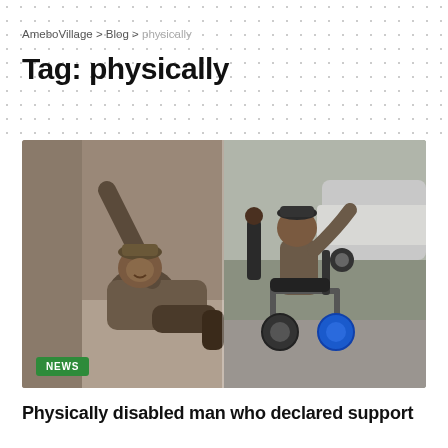AmeboVillage > Blog > physically
Tag: physically
[Figure (photo): Two-panel photo: left panel shows a physically disabled man on the ground reaching up; right panel shows a man in a motorized wheelchair gesturing with his arm raised, with cars and people in the background.]
NEWS
Physically disabled man who declared support